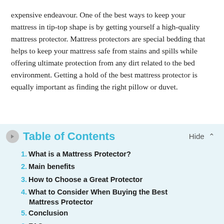expensive endeavour. One of the best ways to keep your mattress in tip-top shape is by getting yourself a high-quality mattress protector. Mattress protectors are special bedding that helps to keep your mattress safe from stains and spills while offering ultimate protection from any dirt related to the bed environment. Getting a hold of the best mattress protector is equally important as finding the right pillow or duvet.
Table of Contents
1. What is a Mattress Protector?
2. Main benefits
3. How to Choose a Great Protector
4. What to Consider When Buying the Best Mattress Protector
5. Conclusion
6. FAQ